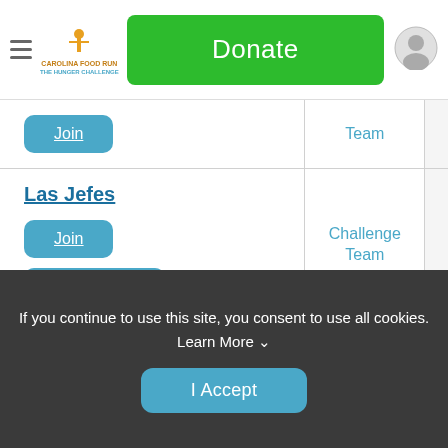Donate
| Team | Type |  |
| --- | --- | --- |
| Join | Team |  |
| Las Jefes
Join
Team Results | Challenge Team |  |
| Las Tortugas
Join | Challenge T... |  |
If you continue to use this site, you consent to use all cookies. Learn More
I Accept